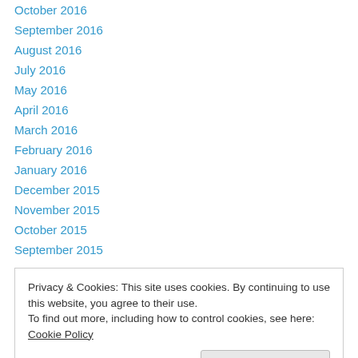October 2016
September 2016
August 2016
July 2016
May 2016
April 2016
March 2016
February 2016
January 2016
December 2015
November 2015
October 2015
September 2015
Privacy & Cookies: This site uses cookies. By continuing to use this website, you agree to their use. To find out more, including how to control cookies, see here: Cookie Policy
February 2015